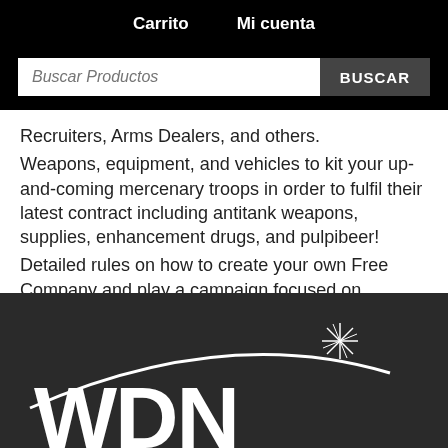Carrito    Mi cuenta
Recruiters, Arms Dealers, and others.
Weapons, equipment, and vehicles to kit your up-and-coming mercenary troops in order to fulfil their latest contract including antitank weapons, supplies, enhancement drugs, and pulpibeer!
Detailed rules on how to create your own Free Company and play a campaign focused on mercenaries.
[Figure (logo): WDN logo in white text on dark background with a starburst and arc above the letters]